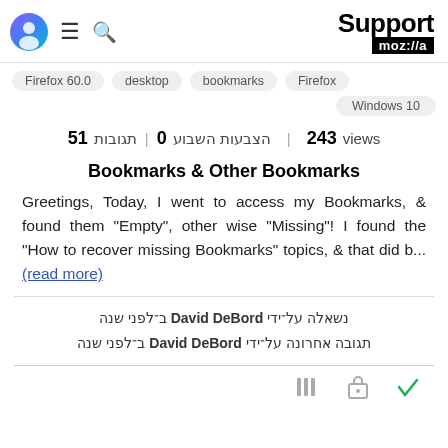Support mozilla
Firefox 60.0  desktop  bookmarks  Firefox  Windows 10
views 243  תגובות 51  הצבעות השבוע 0
Bookmarks & Other Bookmarks
Greetings, Today, I went to access my Bookmarks, & found them "Empty", other wise "Missing"! I found the "How to recover missing Bookmarks" topics, & that did b... (read more)
נשאלה על־ידי David DeBord ב־לפני שנה
תגובה אחרונה על־ידי David DeBord ב־לפני שנה